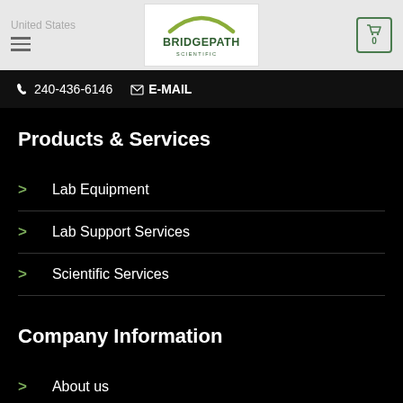United States
[Figure (logo): BridgePath Scientific logo with green arch and text]
240-436-6146  E-MAIL
Products & Services
Lab Equipment
Lab Support Services
Scientific Services
Company Information
About us
Contact